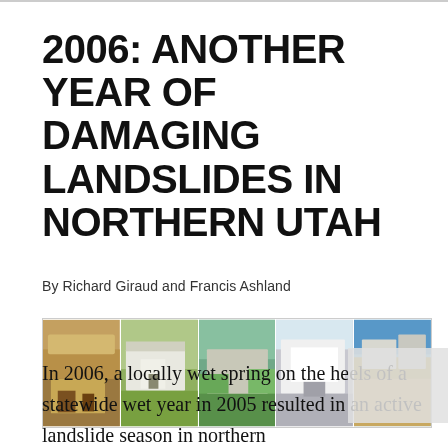2006: ANOTHER YEAR OF DAMAGING LANDSLIDES IN NORTHERN UTAH
By Richard Giraud and Francis Ashland
[Figure (photo): Strip of five photographs showing landslide damage to residential structures in northern Utah, 2006]
In 2006, a locally wet spring on the heels of a statewide wet year in 2005 resulted in an active landslide season in northern